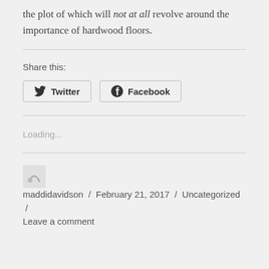the plot of which will not at all revolve around the importance of hardwood floors.
Share this:
Twitter   Facebook
Loading...
maddidavidson / February 21, 2017 / Uncategorized / Leave a comment